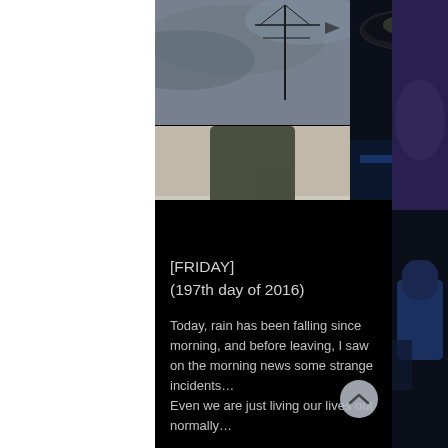[Figure (photo): Top-left photo: dark stormy sky with antenna/pole silhouette visible against grey clouds]
[Figure (photo): Bottom-left photo: downward view of person's feet in sandals wearing dark olive/green pants standing on light tiled surface]
[Figure (photo): Center photo: dark background with a glass bottle/jar with yellow label (appears to be a condiment/sauce bottle) and blue-lit surface]
[Figure (photo): Right edge photo: partially visible dark scene with person in blue clothing]
[FRIDAY]
(197th day of 2016)
Today, rain has been falling since morning, and before leaving, I saw on the morning news some strange incidents…
Even we are just living our lives out normally…